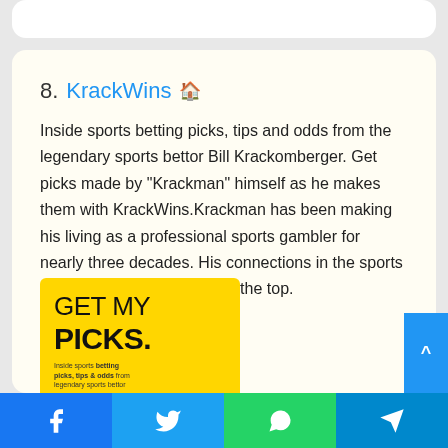8. KrackWins
Inside sports betting picks, tips and odds from the legendary sports bettor Bill Krackomberger. Get picks made by “Krackman” himself as he makes them with KrackWins.Krackman has been making his living as a professional sports gambler for nearly three decades. His connections in the sports gambling industry extend to the top.
[Figure (photo): Yellow promotional banner with text GET MY PICKS. Inside sports betting picks, tips & odds from legendary sports bettor]
Facebook | Twitter | WhatsApp | Telegram